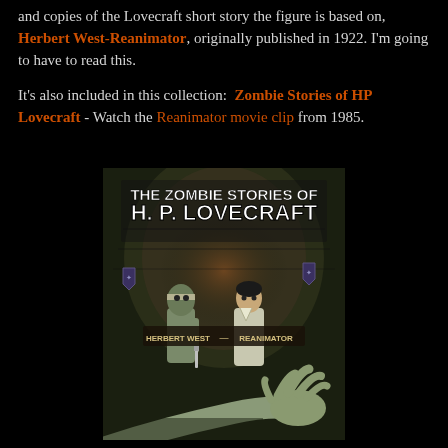and copies of the Lovecraft short story the figure is based on, Herbert West-Reanimator, originally published in 1922. I'm going to have to read this.
It's also included in this collection:  Zombie Stories of HP Lovecraft - Watch the Reanimator movie clip from 1985.
[Figure (illustration): Book cover for 'The Zombie Stories of H. P. Lovecraft' featuring two figures standing in a dark tunnel with a corpse's hand in the foreground. Text reads 'Herbert West - Reanimator' in the middle.]